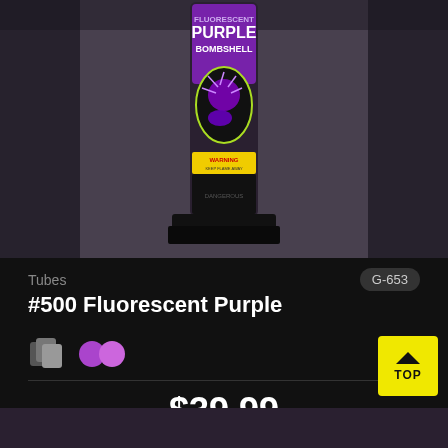[Figure (photo): Product photo of a firework tube labeled 'Fluorescent Purple Bombshell' with a purple and black label showing a firework burst graphic and a yellow warning label at the bottom, sitting on a black square base, against a dark gray background.]
Tubes
G-653
#500 Fluorescent Purple
$39.99
Add to Favorites
TOP